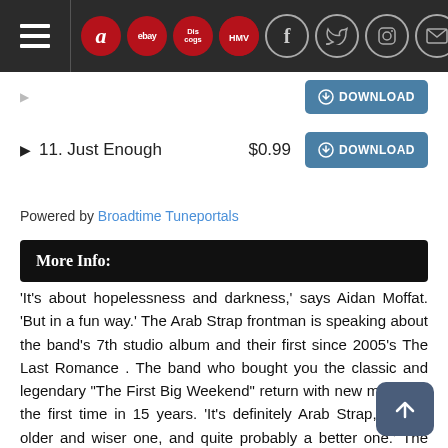Navigation bar with hamburger menu and icons: amazon, ebay, Discogs, HMV, facebook, twitter, instagram, mail
11. Just Enough  $0.99  DOWNLOAD
Powered by Broadtime Tuneportals
More Info:
'It's about hopelessness and darkness,' says Aidan Moffat. 'But in a fun way.' The Arab Strap frontman is speaking about the band's 7th studio album and their first since 2005's The Last Romance . The band who bought you the classic and legendary "The First Big Weekend" return with new music for the first time in 15 years. 'It's definitely Arab Strap, but an older and wiser one, and quite probably a better one.' The first track lifted from the new album 'The Turning of Our Bones' saw a much welcome return to form and proved very much that Arab Strap are back from the grave and ready to rave! As the bands Malcolm Middleton told the Guardian newspaper when they profiled the band upon news of their return, 'There's no point getting back together to release mediocrity.'